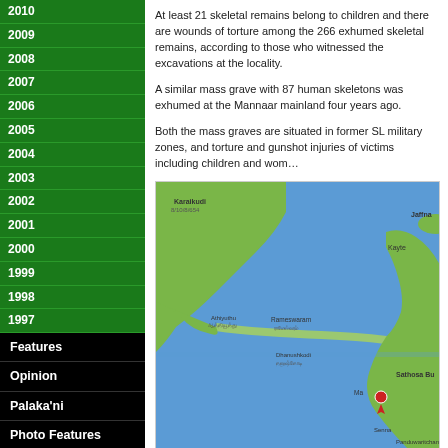2010
2009
2008
2007
2006
2005
2004
2003
2002
2001
2000
1999
1998
1997
Features
Opinion
Palaka'ni
Photo Features
TN Transcription
Web feeds
Feedback
Home
About us
At least 21 skeletal remains belong to children and there are wounds of torture among the 266 exhumed skeletal remains, according to those who witnessed the excavations at the locality.
A similar mass grave with 87 human skeletons was exhumed at the Mannaar mainland four years ago.
Both the mass graves are situated in former SL military zones, and torture and gunshot injuries of victims including children and women…
[Figure (map): Google Maps satellite view showing the Palk Strait area between India and Sri Lanka, with a red marker near Mannaar. Visible labels include Karaikudi, Jaffna, Kayte, Athiyuthu, Rameswaram, Dhanushkodi, Sathosa Bu, Mandapam, and Panduwaritchan.]